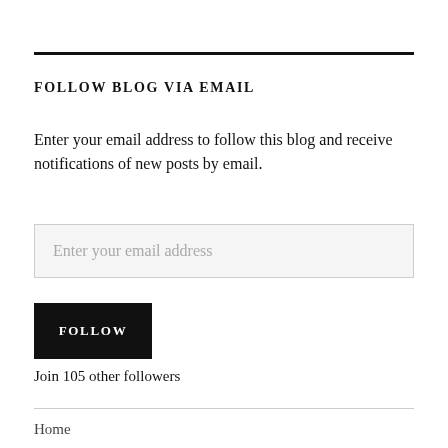FOLLOW BLOG VIA EMAIL
Enter your email address to follow this blog and receive notifications of new posts by email.
Enter your email address
FOLLOW
Join 105 other followers
Home